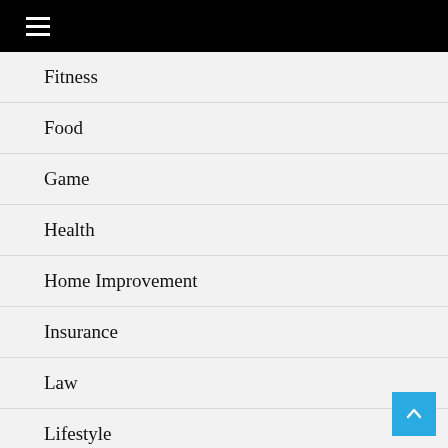≡
Fitness
Food
Game
Health
Home Improvement
Insurance
Law
Lifestyle